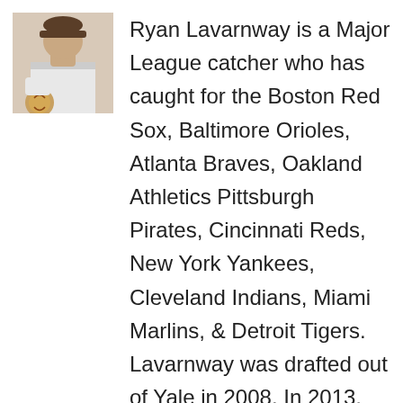[Figure (photo): Photo of Ryan Lavarnway in baseball uniform, partially cropped, showing upper body]
Ryan Lavarnway is a Major League catcher who has caught for the Boston Red Sox, Baltimore Orioles, Atlanta Braves, Oakland Athletics Pittsburgh Pirates, Cincinnati Reds, New York Yankees, Cleveland Indians, Miami Marlins, & Detroit Tigers. Lavarnway was drafted out of Yale in 2008. In 2013, he earned a World Series ring with the Red Sox. He also caught for Team Israel in the 2017 (named “Pool A MVP” ) & 2018 World Baseball